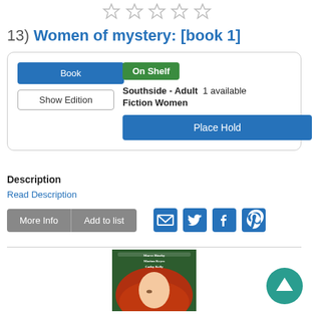[Figure (other): 5 empty star rating icons]
13) Women of mystery: [book 1]
Book | Show Edition | On Shelf | Southside - Adult 1 available | Fiction Women | Place Hold
Description
Read Description
More Info | Add to list | social share icons (email, twitter, facebook, pinterest)
[Figure (photo): Book cover for Women of mystery book 1, showing women with red hair, authors Maeve Binchy, Marian Keyes, Cathy Kelly]
[Figure (other): Teal circular up arrow scroll-to-top button]